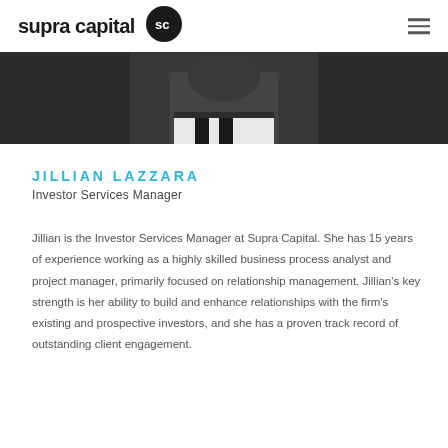supra capital
[Figure (photo): Black and white photo of Jillian Lazzara, cropped to show upper torso in dark suit with white shirt collar visible]
JILLIAN LAZZARA
Investor Services Manager
Jillian is the Investor Services Manager at Supra Capital. She has 15 years of experience working as a highly skilled business process analyst and project manager, primarily focused on relationship management. Jillian's key strength is her ability to build and enhance relationships with the firm's existing and prospective investors, and she has a proven track record of outstanding client engagement.